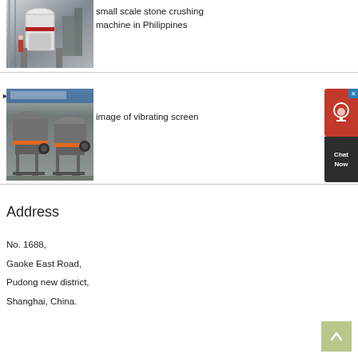[Figure (photo): Industrial stone crushing machine, white large equipment with red band, photographed in a factory or outdoor setting]
small scale stone crushing machine in Philippines
[Figure (photo): Two grey cone crusher machines with orange rings at the base, on metal frames, photographed in a factory with a blue banner in background]
image of vibrating screen
Address
No. 1688,
Gaoke East Road,
Pudong new district,
Shanghai, China.